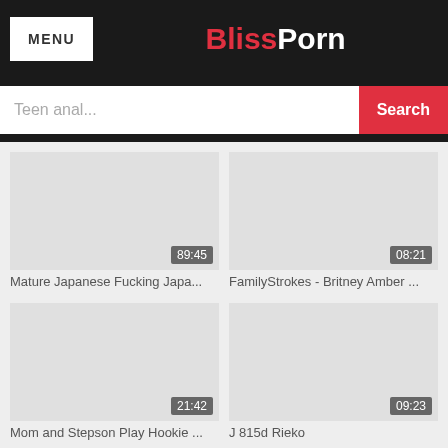MENU | BlissPorn
Teen anal... Search
[Figure (screenshot): Video thumbnail placeholder with duration badge 89:45]
Mature Japanese Fucking Japa...
[Figure (screenshot): Video thumbnail placeholder with duration badge 08:21]
FamilyStrokes - Britney Amber ...
[Figure (screenshot): Video thumbnail placeholder with duration badge 21:42]
Mom and Stepson Play Hookie ...
[Figure (screenshot): Video thumbnail placeholder with duration badge 09:23]
J 815d Rieko
[Figure (screenshot): Video thumbnail placeholder with duration badge 10:23]
[Figure (screenshot): Video thumbnail placeholder with duration badge 10:13]